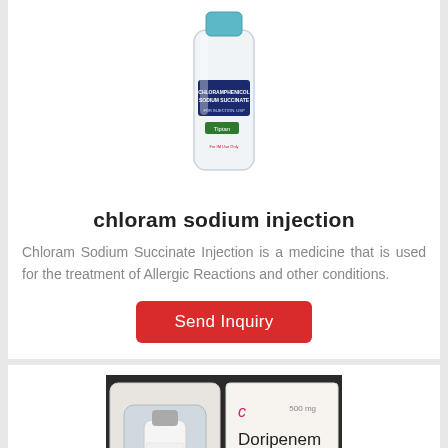[Figure (photo): Chloramphenicol Sodium Succinate injection glass vial with label, white background]
chloram sodium injection
Chloram Sodium Succinate Injection is a medicine that is used for the treatment of Allergic Reactions and other conditions.
[Figure (photo): Doripenem for Injection DR-Nem 500 product box and vial packaging photo]